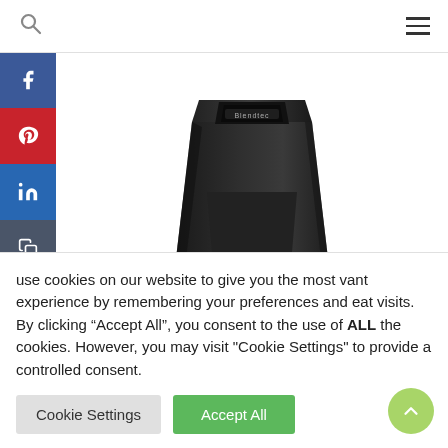Search and menu navigation bar
[Figure (photo): Blendtec blender base, black, photographed from above at slight angle showing the brand name 'Blendtec' on the front. The product is the base unit without jar, showing the motor housing.]
Nutri Ninja
use cookies on our website to give you the most vant experience by remembering your preferences and eat visits. By clicking “Accept All”, you consent to the use of ALL the cookies. However, you may visit "Cookie Settings" to provide a controlled consent.